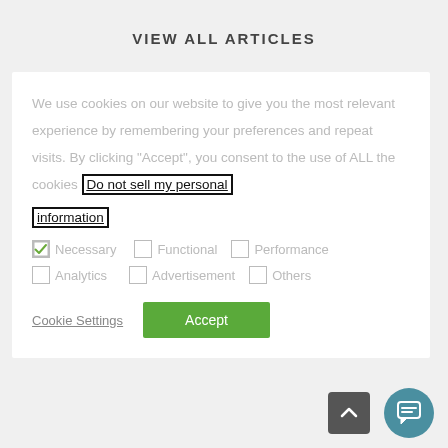VIEW ALL ARTICLES
We use cookies on our website to give you the most relevant experience by remembering your preferences and repeat visits. By clicking "Accept", you consent to the use of ALL the cookies Do not sell my personal information
Necessary
Functional
Performance
Analytics
Advertisement
Others
Cookie Settings
Accept